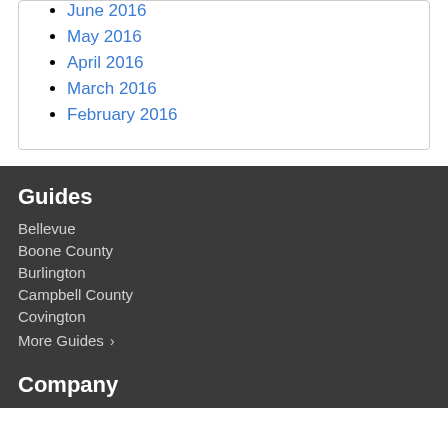June 2016
May 2016
April 2016
March 2016
February 2016
Guides
Bellevue
Boone County
Burlington
Campbell County
Covington
More Guides ›
Company